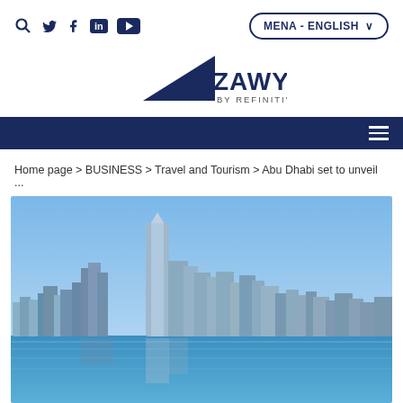Zawya by Refinitiv - MENA ENGLISH - navigation header
Home page > BUSINESS > Travel and Tourism > Abu Dhabi set to unveil ...
[Figure (photo): Abu Dhabi skyline with modern skyscrapers reflected in blue water, daytime blue sky]